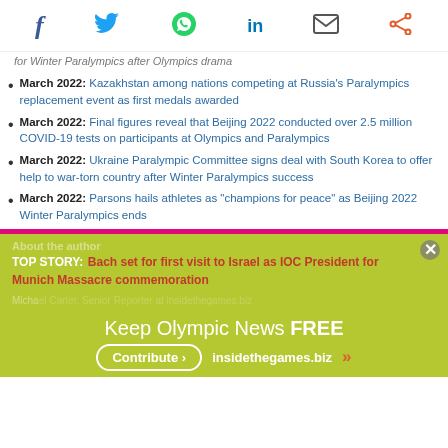[Figure (other): Social sharing icons: Facebook, Twitter, WhatsApp, LinkedIn, Email, Share]
for Winter Paralympics after Olympics drama
March 2022: Kazakhstan among nations competing at Russia's Paralympics replacement event as first medals awarded
March 2022: Final figures reveal that Beijing 2022 conducted over 2.5 million COVID-19 tests on participants at Olympics and Paralympics
March 2022: Ukraine Paralympic Committee signs deal with South Korea to offer help to war-torn country after Winter Paralympics success
March 2022: Parsons hails athletes as "champions for peace" as Beijing 2022 Winter Paralympics ends
About the author
TOP STORY: Bach set for first visit to Israel as IOC President for Munich Massacre commemoration
Michael...
Keep Olympic News FREE Contribute > insidethegames.biz >>